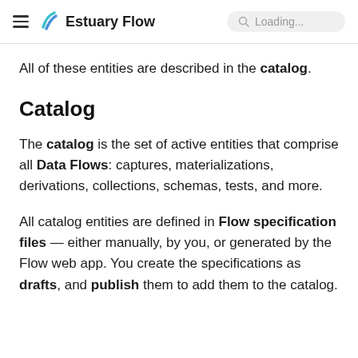Estuary Flow — Loading...
All of these entities are described in the catalog.
Catalog
The catalog is the set of active entities that comprise all Data Flows: captures, materializations, derivations, collections, schemas, tests, and more.
All catalog entities are defined in Flow specification files — either manually, by you, or generated by the Flow web app. You create the specifications as drafts, and publish them to add them to the catalog.